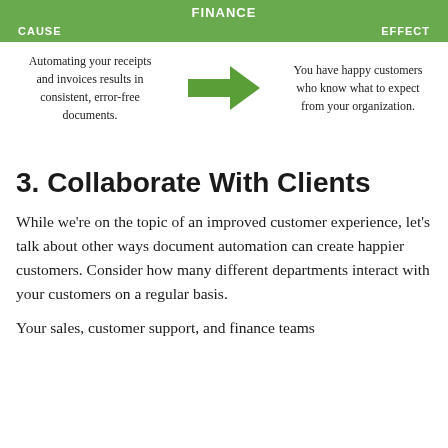[Figure (infographic): Cause and effect diagram with green header row labeled FINANCE, subheaders CAUSE and EFFECT, a green arrow pointing right from cause text to effect text. Cause: Automating your receipts and invoices results in consistent, error-free documents. Effect: You have happy customers who know what to expect from your organization.]
3. Collaborate With Clients
While we’re on the topic of an improved customer experience, let’s talk about other ways document automation can create happier customers. Consider how many different departments interact with your customers on a regular basis.
Your sales, customer support, and finance teams